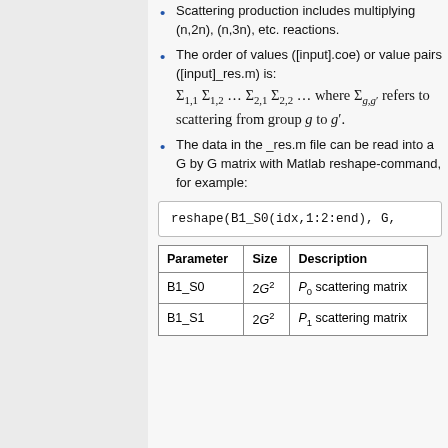Scattering production includes multiplying (n,2n), (n,3n), etc. reactions.
The order of values ([input].coe) or value pairs ([input]_res.m) is: Σ₁,₁ Σ₁,₂ … Σ₂,₁ Σ₂,₂ … where Σ_{g,g'} refers to scattering from group g to g'.
The data in the _res.m file can be read into a G by G matrix with Matlab reshape-command, for example:
reshape(B1_S0(idx,1:2:end), G,
| Parameter | Size | Description |
| --- | --- | --- |
| B1_S0 | 2G² | P₀ scattering matrix |
| B1_S1 | 2G² | P₁ scattering matrix |